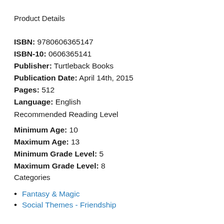Product Details
ISBN: 9780606365147
ISBN-10: 0606365141
Publisher: Turtleback Books
Publication Date: April 14th, 2015
Pages: 512
Language: English
Recommended Reading Level
Minimum Age: 10
Maximum Age: 13
Minimum Grade Level: 5
Maximum Grade Level: 8
Categories
Fantasy & Magic
Social Themes - Friendship